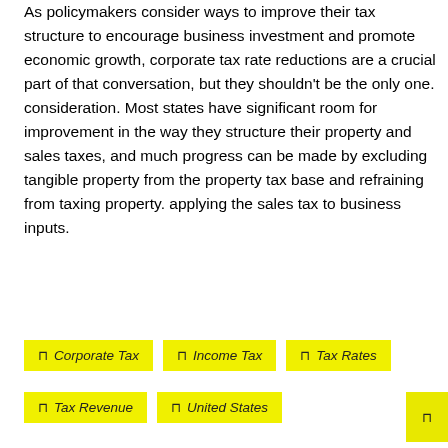As policymakers consider ways to improve their tax structure to encourage business investment and promote economic growth, corporate tax rate reductions are a crucial part of that conversation, but they shouldn't be the only one. consideration. Most states have significant room for improvement in the way they structure their property and sales taxes, and much progress can be made by excluding tangible property from the property tax base and refraining from taxing property. applying the sales tax to business inputs.
Corporate Tax
Income Tax
Tax Rates
Tax Revenue
United States